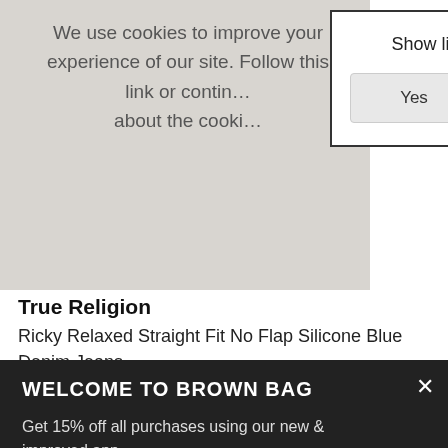We use cookies to improve your experience of our site. Follow this link or continue browsing to find out more about the cookies we use.
Show live links on nav?
Yes
No
True Religion
Ricky Relaxed Straight Fit No Flap Silicone Blue Denim Jeans
WELCOME TO BROWN BAG
Get 15% off all purchases using our new & improved app
DOWNLOAD NOW
*Excludes clearance, sale & any other promotion